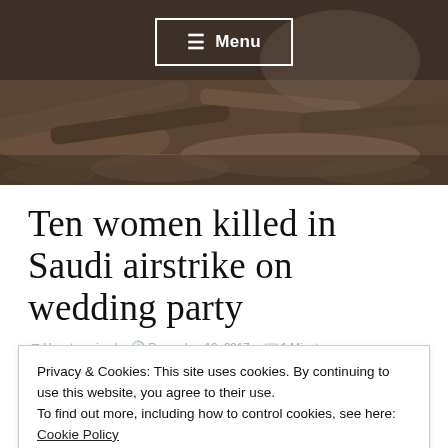[Figure (photo): Dark background image showing rubble, debris, and fallen tree logs — war destruction scene]
☰ Menu
Ten women killed in Saudi airstrike on wedding party
Uncategorized  December 19, 2017  1 Minute
Privacy & Cookies: This site uses cookies. By continuing to use this website, you agree to their use.
To find out more, including how to control cookies, see here: Cookie Policy
Close and accept
Yemen, a health official told Al Jazeera on Sunday.